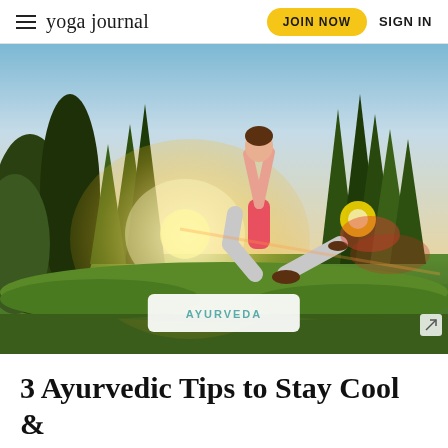yoga journal | JOIN NOW | SIGN IN
[Figure (photo): Woman in a warrior yoga pose outdoors in a lush garden with cypress trees and golden sunlight/lens flare. She wears a pink tank top and white leggings.]
AYURVEDA
3 Ayurvedic Tips to Stay Cool &